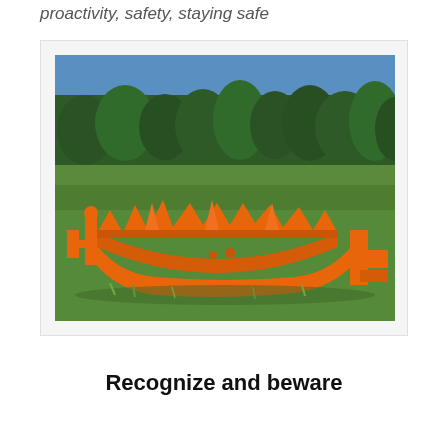proactivity, safety, staying safe
[Figure (photo): An orange large agricultural or forestry implement with jagged teeth/claws, resembling a giant bear trap or root rake, lying on green grass with trees in the background.]
Recognize and beware